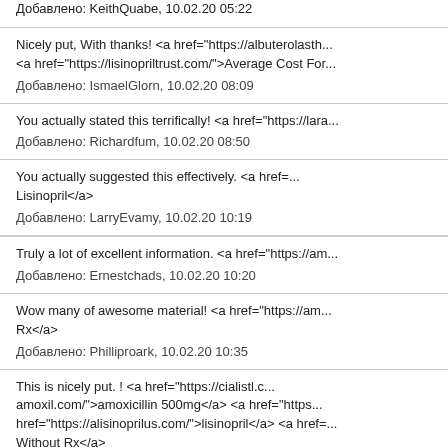Nicely put, With thanks! <a href="https://albuterolasth...
<a href="https://lisinopriltrust.com/">Average Cost For...
Добавлено: IsmaelGlorn, 10.02.20 08:09
You actually stated this terrifically! <a href="https://lara...
Добавлено: Richardfum, 10.02.20 08:50
You actually suggested this effectively. <a href=...
Lisinopril</a>
Добавлено: LarryEvamy, 10.02.20 10:19
Truly a lot of excellent information. <a href="https://am...
Добавлено: Ernestchads, 10.02.20 10:20
Wow many of awesome material! <a href="https://am...
Rx</a>
Добавлено: Philliproark, 10.02.20 10:35
This is nicely put. ! <a href="https://cialistl.c...
amoxil.com/">amoxicillin 500mg</a> <a href="https...
href="https://alisinoprilus.com/">lisinopril</a> <a href=...
Without Rx</a>
Добавлено: IsmaelGlorn, 10.02.20 15:24